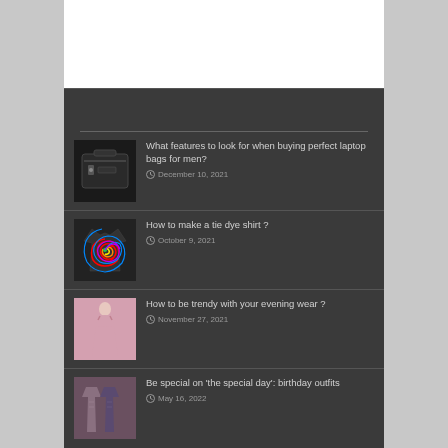[Figure (screenshot): White header/banner area at top of page]
[Figure (photo): Black laptop messenger bag]
What features to look for when buying perfect laptop bags for men?
December 10, 2021
[Figure (photo): Colorful tie dye spiral t-shirt]
How to make a tie dye shirt ?
October 9, 2021
[Figure (photo): Woman in pink evening gown dress]
How to be trendy with your evening wear ?
November 27, 2021
[Figure (photo): Birthday outfit dresses]
Be special on 'the special day': birthday outfits
May 16, 2022